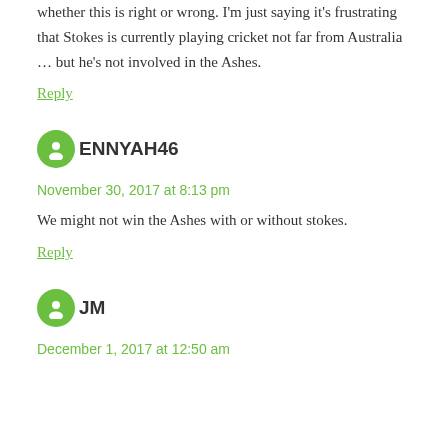whether this is right or wrong. I'm just saying it's frustrating that Stokes is currently playing cricket not far from Australia … but he's not involved in the Ashes.
Reply
ENNYAH46
November 30, 2017 at 8:13 pm
We might not win the Ashes with or without stokes.
Reply
JM
December 1, 2017 at 12:50 am